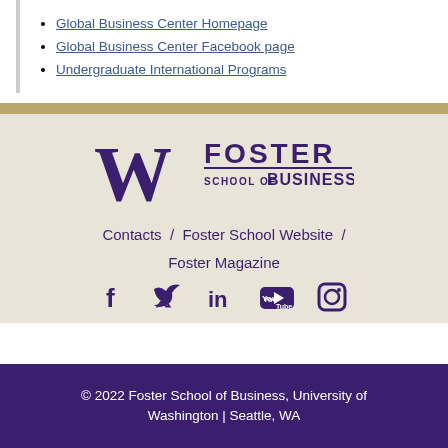Global Business Center Homepage
Global Business Center Facebook page
Undergraduate International Programs
[Figure (logo): University of Washington Foster School of Business logo with purple W and text]
Contacts / Foster School Website / Foster Magazine
[Figure (infographic): Social media icons: Facebook, Twitter, LinkedIn, YouTube, Instagram]
© 2022 Foster School of Business, University of Washington | Seattle, WA